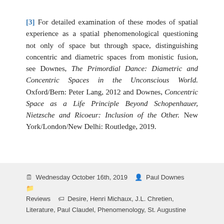[3] For detailed examination of these modes of spatial experience as a spatial phenomenological questioning not only of space but through space, distinguishing concentric and diametric spaces from monistic fusion, see Downes, The Primordial Dance: Diametric and Concentric Spaces in the Unconscious World. Oxford/Bern: Peter Lang, 2012 and Downes, Concentric Space as a Life Principle Beyond Schopenhauer, Nietzsche and Ricoeur: Inclusion of the Other. New York/London/New Delhi: Routledge, 2019.
Wednesday October 16th, 2019  Paul Downes  Reviews  Desire, Henri Michaux, J.L. Chretien, Literature, Paul Claudel, Phenomenology, St. Augustine